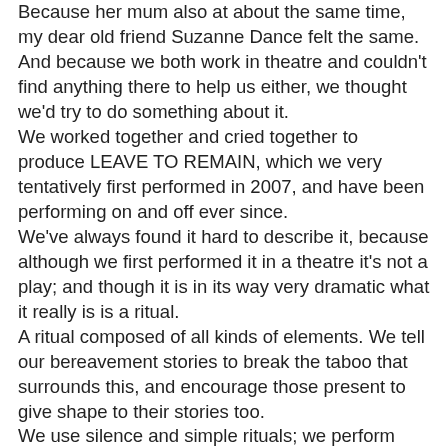Because her mum also at about the same time, my dear old friend Suzanne Dance felt the same. And because we both work in theatre and couldn't find anything there to help us either, we thought we'd try to do something about it. We worked together and cried together to produce LEAVE TO REMAIN, which we very tentatively first performed in 2007, and have been performing on and off ever since. We've always found it hard to describe it, because although we first performed it in a theatre it's not a play; and though it is in its way very dramatic what it really is is a ritual. A ritual composed of all kinds of elements. We tell our bereavement stories to break the taboo that surrounds this, and encourage those present to give shape to their stories too. We use silence and simple rituals; we perform poems by poets who have inspired us, and pieces of writing by those who have guided us. We have beautiful music that helps us listen to our hearts; and it all happens in an atmosphere that contains and comforts us. And afterwards, those who want to can stay behind to talk about what's just happened. Most people do. The music comes from Harriet Davidson on the cello. It all